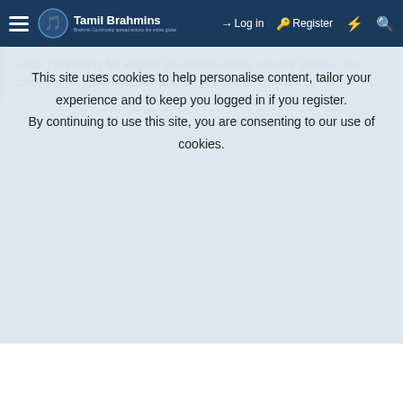Tamil Brahmins — Log in | Register
Hello, I'm looking for english translation of this sanskrit Shloka, can someone please translate the lyrics to english? Thanks
This site uses cookies to help personalise content, tailor your experience and to keep you logged in if you register. By continuing to use this site, you are consenting to our use of cookies.